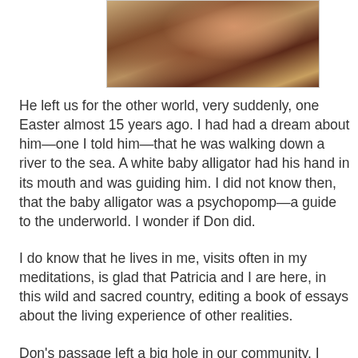[Figure (photo): Partial view of a painting or photograph showing a figure in robes, cropped at top of page]
He left us for the other world, very suddenly, one Easter almost 15 years ago. I had had a dream about him—one I told him—that he was walking down a river to the sea. A white baby alligator had his hand in its mouth and was guiding him. I did not know then, that the baby alligator was a psychopomp—a guide to the underworld. I wonder if Don did.
I do know that he lives in me, visits often in my meditations, is glad that Patricia and I are here, in this wild and sacred country, editing a book of essays about the living experience of other realities.
Don's passage left a big hole in our community. I wrote about this in a poem.